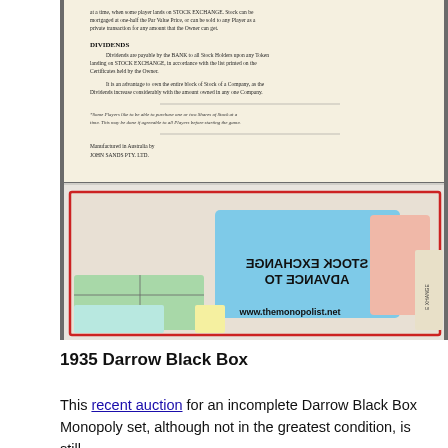[Figure (photo): Photo of an old Monopoly game box interior showing printed rules text about DIVIDENDS and stock exchange, and below that a photo of game cards including a blue card reading 'ADVANCE TO STOCK EXCHANGE' (mirrored/reversed), a pink card, a green card, and other game components. Watermark: www.themonopolist.net]
1935 Darrow Black Box
This recent auction for an incomplete Darrow Black Box Monopoly set, although not in the greatest condition, is still